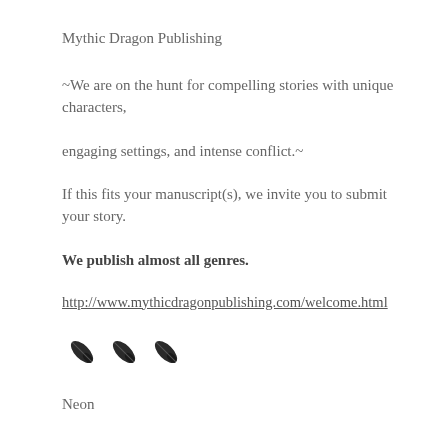Mythic Dragon Publishing
~We are on the hunt for compelling stories with unique characters,
engaging settings, and intense conflict.~
If this fits your manuscript(s), we invite you to submit your story.
We publish almost all genres.
http://www.mythicdragonpublishing.com/welcome.html
[Figure (illustration): Three black feather/quill pen icons in a row]
Neon